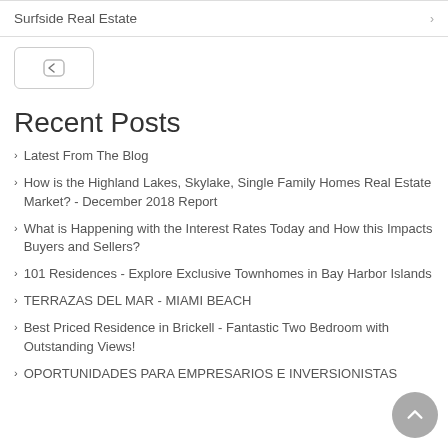Surfside Real Estate
[Figure (other): Navigation back button (rounded rectangle with left chevron arrow)]
Recent Posts
Latest From The Blog
How is the Highland Lakes, Skylake, Single Family Homes Real Estate Market? - December 2018 Report
What is Happening with the Interest Rates Today and How this Impacts Buyers and Sellers?
101 Residences - Explore Exclusive Townhomes in Bay Harbor Islands
TERRAZAS DEL MAR - MIAMI BEACH
Best Priced Residence in Brickell - Fantastic Two Bedroom with Outstanding Views!
OPORTUNIDADES PARA EMPRESARIOS E INVERSIONISTAS